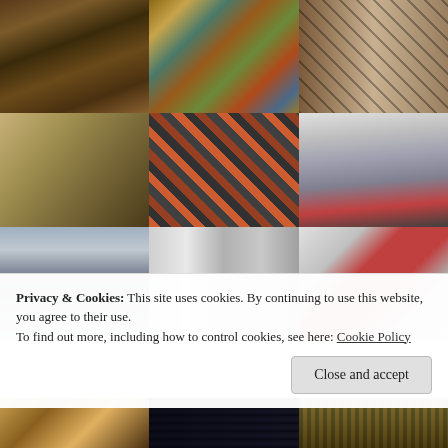[Figure (photo): 3x3 grid of close-up photography images: row 1: wooden barrel, colorful textured painting, metal diamond-pattern grate; row 2: sandy concrete corner, colorful diamond-mesh fence, metal tool/Allen key set; row 3: ocean waves on shore, blurred motion streaks, accordion or concertina bellows with red stripe. Partial row 4 visible at bottom: wooden boards/books, dark textured surface, woven/grid pattern.]
Privacy & Cookies: This site uses cookies. By continuing to use this website, you agree to their use.
To find out more, including how to control cookies, see here: Cookie Policy
Close and accept